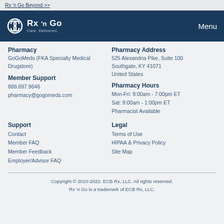Rx 'n Go Beyond >>
[Figure (logo): Rx 'n Go logo with infinity-style icon and tagline 'Care. Delivered.' on dark navy background, with Menu text on right]
Pharmacy
GoGoMeds (FKA Specialty Medical Drugstore)
Pharmacy Address
525 Alexandria Pike, Suite 100
Southgate, KY 41071
United States
Member Support
888.697.9646
pharmacy@gogomeds.com
Pharmacy Hours
Mon-Fri: 9:00am - 7:00pm ET
Sat: 9:00am - 1:00pm ET
Pharmacist Available
Support
Contact
Member FAQ
Member Feedback
Employer/Advisor FAQ
Legal
Terms of Use
HIPAA & Privacy Policy
Site Map
Copyright © 2010-2022. ECB Rx, LLC. All rights reserved.
Rx 'n Go is a trademark of ECB Rx, LLC.